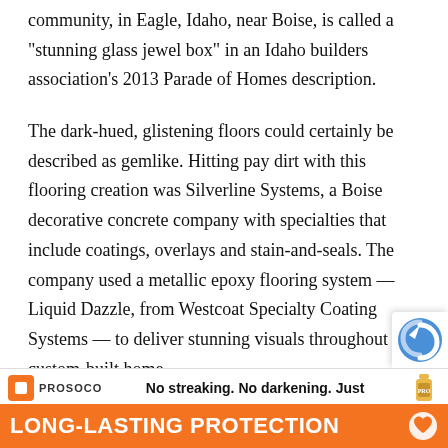community, in Eagle, Idaho, near Boise, is called a “stunning glass jewel box” in an Idaho builders association’s 2013 Parade of Homes description.
The dark-hued, glistening floors could certainly be described as gemlike. Hitting pay dirt with this flooring creation was Silverline Systems, a Boise decorative concrete company with specialties that include coatings, overlays and stain-and-seals. The company used a metallic epoxy flooring system — Liquid Dazzle, from Westcoat Specialty Coating Systems — to deliver stunning visuals throughout the custom-built home.
The home, called the “The Manhattan,” was designed
[Figure (other): reCAPTCHA badge partially visible in bottom-right corner]
[Figure (other): PROSOCO advertisement banner: 'No streaking. No darkening. Just LONG-LASTING PROTECTION' with orange branding, bottle image, and heart icon]